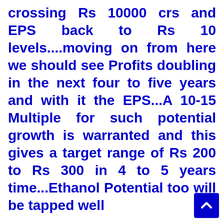crossing Rs 10000 crs and EPS back to Rs 10 levels....moving on from here we should see Profits doubling in the next four to five years and with it the EPS...A 10-15 Multiple for such potential growth is warranted and this gives a target range of Rs 200 to Rs 300 in 4 to 5 years time...Ethanol Potential too will be tapped well
....The Company has been quite investor friendly too....Last year dividend was 100% for September Year ending FY 10 and a 1:1